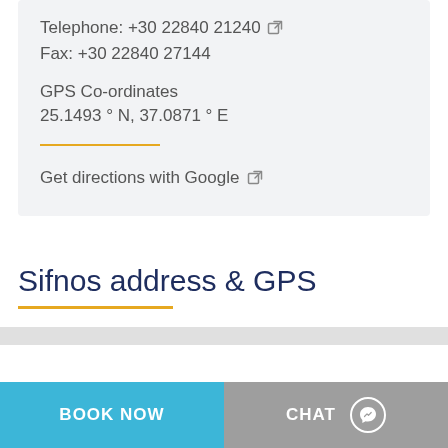Telephone: +30 22840 21240 ↗
Fax: +30 22840 27144
GPS Co-ordinates
25.1493 ° N, 37.0871 ° E
Get directions with Google ↗
Sifnos address & GPS
BOOK NOW
CHAT